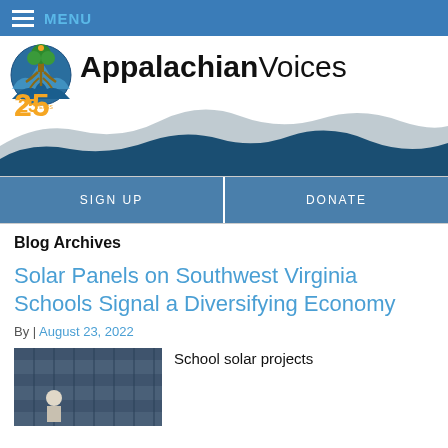MENU
[Figure (logo): Appalachian Voices logo with tree and 25 years badge, with mountain silhouette background illustration]
AppalachianVoices
SIGN UP
DONATE
Blog Archives
Solar Panels on Southwest Virginia Schools Signal a Diversifying Economy
By | August 23, 2022
School solar projects